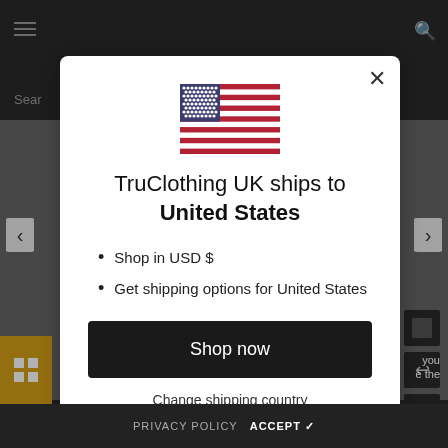[Figure (screenshot): Background of a TruClothing UK e-commerce website showing a dark leather jacket product page with navigation arrows and icons]
[Figure (illustration): US flag SVG illustration centered in the modal dialog]
TruClothing UK ships to United States
Shop in USD $
Get shipping options for United States
Shop now
Change shipping country
PRIVACY POLICY   ACCEPT ✓